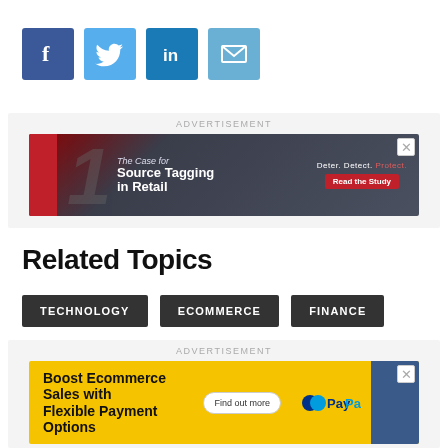[Figure (other): Social sharing icons row: Facebook (blue), Twitter (light blue), LinkedIn (dark blue), Email (medium blue)]
[Figure (other): Advertisement banner: The Case for Source Tagging in Retail. Deter. Detect. Protect. Read the Study.]
Related Topics
TECHNOLOGY
ECOMMERCE
FINANCE
[Figure (other): Advertisement banner: Boost Ecommerce Sales with Flexible Payment Options. Find out more. PayPal.]